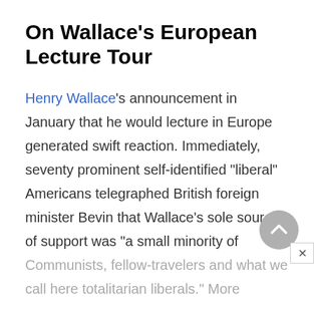On Wallace's European Lecture Tour
Henry Wallace's announcement in January that he would lecture in Europe generated swift reaction. Immediately, seventy prominent self-identified "liberal" Americans telegraphed British foreign minister Bevin that Wallace's sole source of support was "a small minority of Communists, fellow-travelers and what we call here totalitarian liberals." More